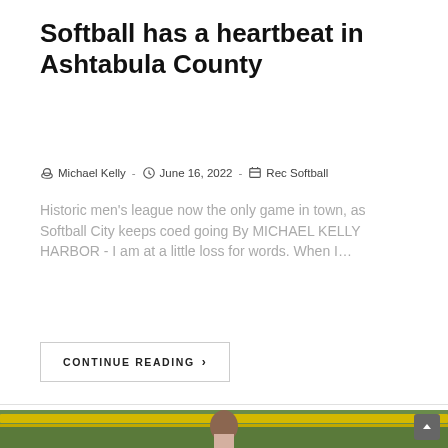Softball has a heartbeat in Ashtabula County
Michael Kelly  -  June 16, 2022  -  Rec Softball
Historic men's league now the only game in town, as Softball City keeps coed going By MICHAEL KELLY HARBOR - I am at a little loss for words. When I…
CONTINUE READING ›
[Figure (photo): A softball player winding up to pitch, seen from the waist up against a green leafy background with a yellow fence visible. Player has long hair and is holding a yellow-green softball.]